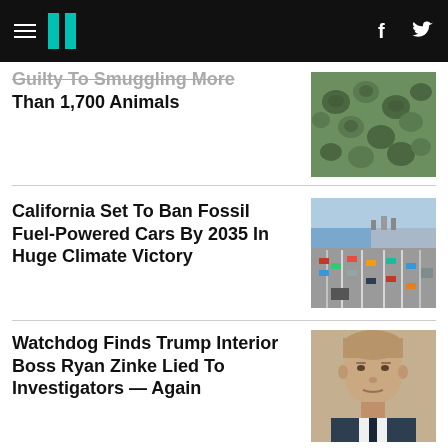HuffPost navigation with hamburger menu, logo, Facebook and Twitter icons
Guilty To Smuggling More Than 1,700 Animals
[Figure (photo): Close-up photo of many small turtles or tortoises clustered together]
California Set To Ban Fossil Fuel-Powered Cars By 2035 In Huge Climate Victory
[Figure (photo): Aerial view of a busy multi-lane highway with many cars and trucks]
Watchdog Finds Trump Interior Boss Ryan Zinke Lied To Investigators — Again
[Figure (photo): Portrait photo of a middle-aged man in a suit, Ryan Zinke]